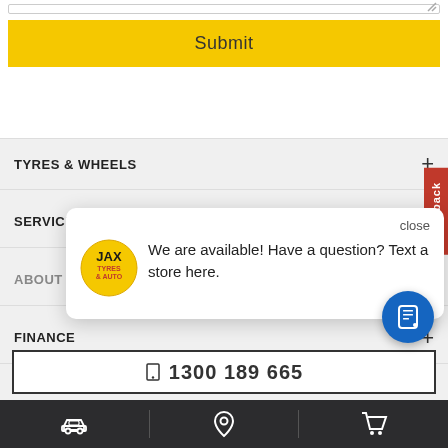[Figure (screenshot): Yellow Submit button on white background at top of page]
TYRES & WHEELS +
SERVICE & REPAIRS
ABOUT JAX TYRES & AUTO
FINANCE +
[Figure (infographic): JAX Tyres & Auto chat popup card with logo, message 'We are available! Have a question? Text a store here.' and a blue mobile chat button]
1300 189 665
[Figure (infographic): Bottom navigation bar with car, location pin, and shopping cart icons on dark background]